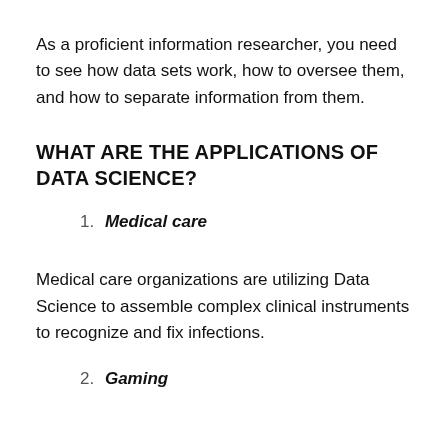As a proficient information researcher, you need to see how data sets work, how to oversee them, and how to separate information from them.
WHAT ARE THE APPLICATIONS OF DATA SCIENCE?
1. Medical care
Medical care organizations are utilizing Data Science to assemble complex clinical instruments to recognize and fix infections.
2. Gaming